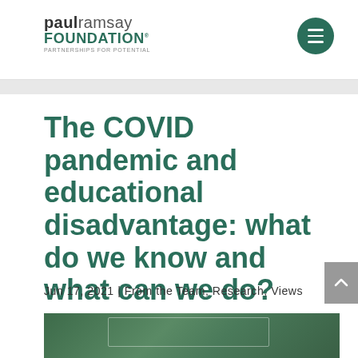paul ramsay FOUNDATION PARTNERSHIPS FOR POTENTIAL
The COVID pandemic and educational disadvantage: what do we know and what can we do?
Jun 17, 2021 | From the Team, Research, Views
[Figure (photo): A teacher pointing at a chalkboard with math/grid content, with a woman visible on the right side.]